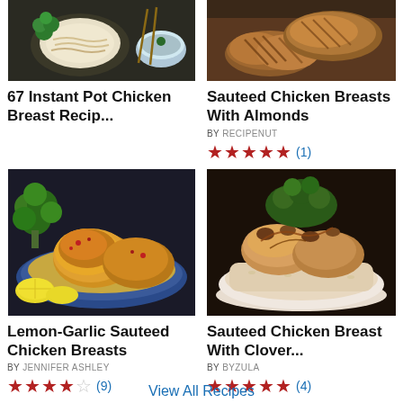[Figure (photo): Food photo - Asian noodle/rice dish with broccoli and chopsticks on dark background]
67 Instant Pot Chicken Breast Recip...
[Figure (photo): Food photo - Sauteed chicken breasts, grilled meat close-up]
Sauteed Chicken Breasts With Almonds
BY RECIPENUT
★★★★★ (1)
[Figure (photo): Food photo - Lemon garlic sauteed chicken breasts with broccoli on blue plate with lemon]
Lemon-Garlic Sauteed Chicken Breasts
BY JENNIFER ASHLEY
★★★★☆ (9)
[Figure (photo): Food photo - Sauteed chicken breast with clover on rice with herbs and nuts]
Sauteed Chicken Breast With Clover...
BY BYZULA
★★★★★ (4)
View All Recipes